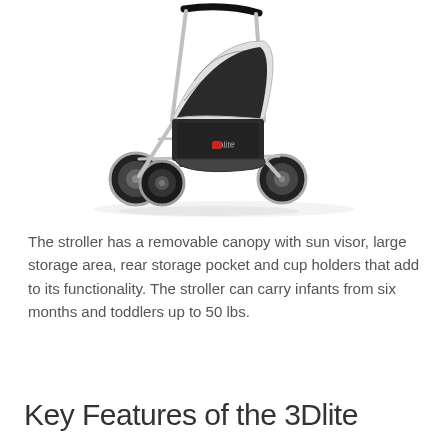[Figure (photo): A black and silver baby stroller (3Dlite) with a removable canopy, multiple wheels, and a storage area beneath the seat, shown on a white background.]
The stroller has a removable canopy with sun visor, large storage area, rear storage pocket and cup holders that add to its functionality. The stroller can carry infants from six months and toddlers up to 50 lbs.
Key Features of the 3Dlite